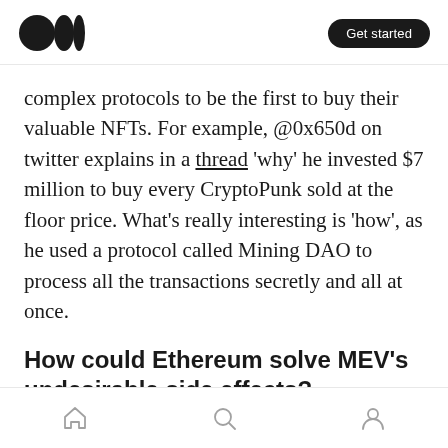Medium logo | Get started
complex protocols to be the first to buy their valuable NFTs. For example, @0x650d on twitter explains in a thread 'why' he invested $7 million to buy every CryptoPunk sold at the floor price. What's really interesting is 'how', as he used a protocol called Mining DAO to process all the transactions secretly and all at once.
How could Ethereum solve MEV's undesirable side effects?
First, let's take a look at Ethereum network upgrades. The EIP-1559 (fee-burning
Navigation icons: Home, Search, Profile